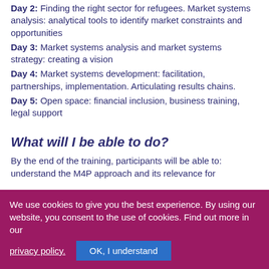Day 2: Finding the right sector for refugees. Market systems analysis: analytical tools to identify market constraints and opportunities
Day 3: Market systems analysis and market systems strategy: creating a vision
Day 4: Market systems development: facilitation, partnerships, implementation. Articulating results chains.
Day 5: Open space: financial inclusion, business training, legal support
What will I be able to do?
By the end of the training, participants will be able to: understand the M4P approach and its relevance for
We use cookies to give you the best experience. By using our website, you consent to the use of cookies. Find out more in our privacy policy.